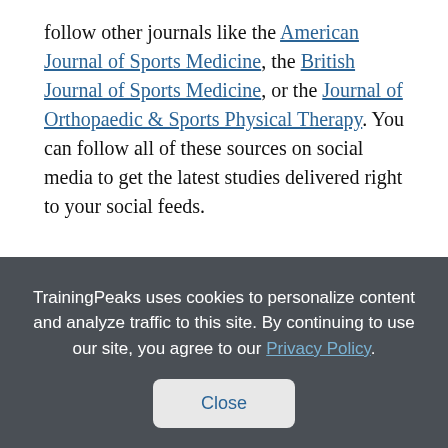follow other journals like the American Journal of Sports Medicine, the British Journal of Sports Medicine, or the Journal of Orthopaedic & Sports Physical Therapy. You can follow all of these sources on social media to get the latest studies delivered right to your social feeds.
References:
Rønnestad, B.R., Rømer, T. and Hansen, J., 2020.
TrainingPeaks uses cookies to personalize content and analyze traffic to this site. By continuing to use our site, you agree to our Privacy Policy.